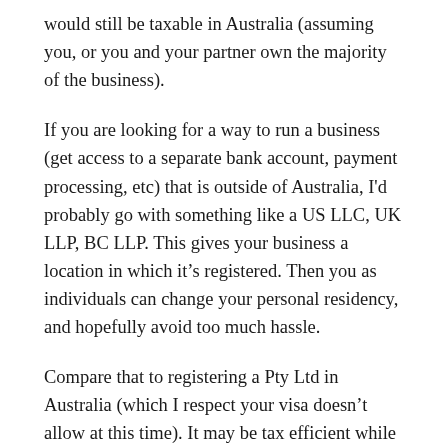would still be taxable in Australia (assuming you, or you and your partner own the majority of the business).
If you are looking for a way to run a business (get access to a separate bank account, payment processing, etc) that is outside of Australia, I'd probably go with something like a US LLC, UK LLP, BC LLP. This gives your business a location in which it's registered. Then you as individuals can change your personal residency, and hopefully avoid too much hassle.
Compare that to registering a Pty Ltd in Australia (which I respect your visa doesn't allow at this time). It may be tax efficient while living in Australia, but if you ever leave the country, likely becomes tax inefficient, and can